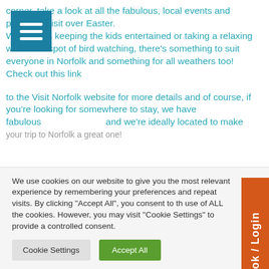corner, take a look at all the fabulous, local events and places to visit over Easter. Whether it's keeping the kids entertained or taking a relaxing walk for a spot of bird watching, there's something to suit everyone in Norfolk and something for all weathers too! Check out this link to the Visit Norfolk website for more details and of course, if you're looking for somewhere to stay, we have fabulous and we're ideally located to make your trip to Norfolk a great one!
We use cookies on our website to give you the most relevant experience by remembering your preferences and repeat visits. By clicking "Accept All", you consent to the use of ALL the cookies. However, you may visit "Cookie Settings" to provide a controlled consent.